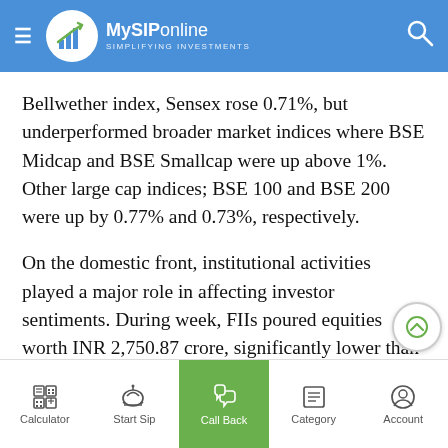MySIPonline — SIMPLIFYING INVESTMENTS
Bellwether index, Sensex rose 0.71%, but underperformed broader market indices where BSE Midcap and BSE Smallcap were up above 1%. Other large cap indices; BSE 100 and BSE 200 were up by 0.77% and 0.73%, respectively.
On the domestic front, institutional activities played a major role in affecting investor sentiments. During week, FIIs poured equities worth INR 2,750.87 crore, significantly lower than earlier week’s inflow of INR 5,333.40 crore. On the other side, outflow by Domestic Institutional Investors (DIIs) fell from INR 2,579.67 crore to INR 976.72 crore
Calculator | Start Sip | Call Back | Category | Account